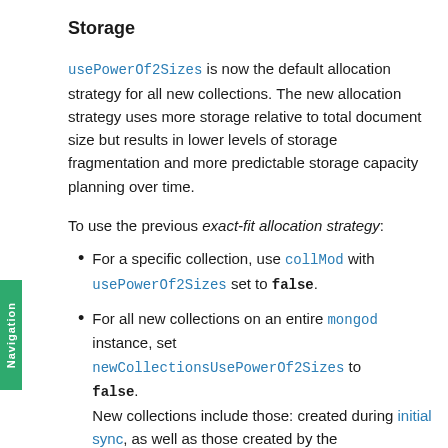Storage
usePowerOf2Sizes is now the default allocation strategy for all new collections. The new allocation strategy uses more storage relative to total document size but results in lower levels of storage fragmentation and more predictable storage capacity planning over time.
To use the previous exact-fit allocation strategy:
For a specific collection, use collMod with usePowerOf2Sizes set to false.
For all new collections on an entire mongod instance, set newCollectionsUsePowerOf2Sizes to false.
New collections include those: created during initial sync, as well as those created by the